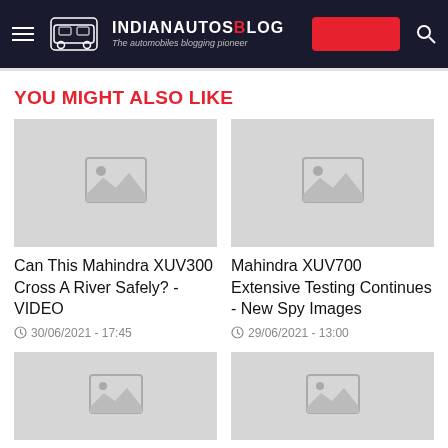IndianAutosBlog - The automobiles blogging pioneer
YOU MIGHT ALSO LIKE
[Figure (photo): Placeholder thumbnail image for article 1]
Can This Mahindra XUV300 Cross A River Safely? - VIDEO
30/06/2021 - 17:45
[Figure (photo): Placeholder thumbnail image for article 2]
Mahindra XUV700 Extensive Testing Continues - New Spy Images
29/06/2021 - 13:00
[Figure (photo): Placeholder thumbnail image for article 3]
[Figure (photo): Placeholder thumbnail image for article 4]